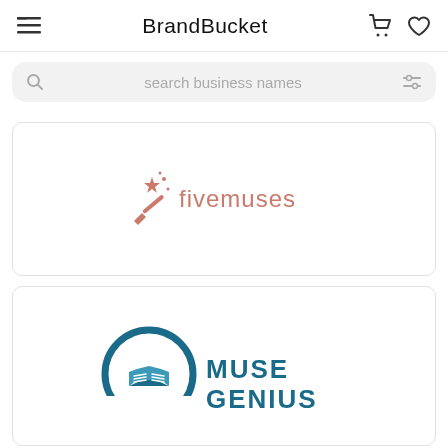BrandBucket
search business names
[Figure (logo): fivemuses logo: a magic wand sparkle icon in salmon/rose color followed by the text 'fivemuses' in light salmon color]
[Figure (logo): Muse Genius logo: circular dark teal icon with an open book and headphone arc, with bold teal text 'MUSE GENIUS' to the right]